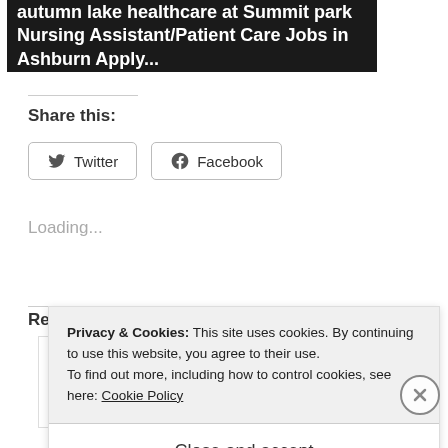[Figure (screenshot): Dark banner with white bold text: 'autumn lake healthcare at Summit park Nursing Assistant/Patient Care Jobs in Ashburn Apply...']
Share this:
Twitter  Facebook
Loading...
Related
Privacy & Cookies: This site uses cookies. By continuing to use this website, you agree to their use.
To find out more, including how to control cookies, see here: Cookie Policy
Close and accept